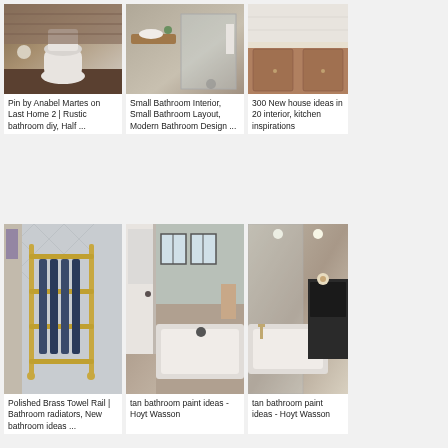[Figure (photo): Rustic bathroom with toilet and brick wall]
Pin by Anabel Martes on Last Home 2 | Rustic bathroom diy, Half ...
[Figure (photo): Small bathroom with floating wooden shelf and glass shower]
Small Bathroom Interior, Small Bathroom Layout, Modern Bathroom Design ...
[Figure (photo): Bathroom with wooden vanity cabinets (partially visible)]
300 New house ideas in 20 interior, kitchen inspirations
[Figure (photo): Polished brass towel rail with blue radiator on herringbone tile]
Polished Brass Towel Rail | Bathroom radiators, New bathroom ideas ...
[Figure (photo): Tan bathroom with bathtub and tile surround - Hoyt Wasson]
tan bathroom paint ideas - Hoyt Wasson
[Figure (photo): Luxury bathroom with long tub and shower (partially visible)]
tan bathroom paint ideas - Hoyt Wasson